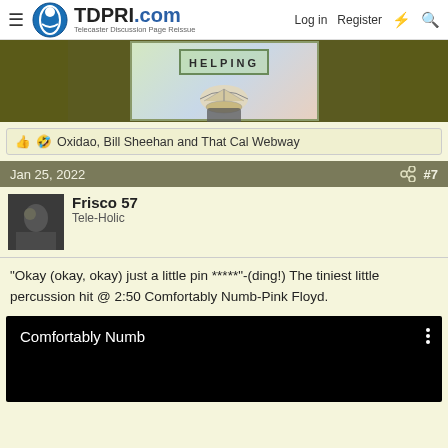TDPRI.com — Telecaster Discussion Page Reissue | Log in | Register
[Figure (illustration): Colorful art image with text 'HELPING' and decorative shell motif, olive/dark background on sides]
👍 🤣 Oxidao, Bill Sheehan and That Cal Webway
Jan 25, 2022  #7
Frisco 57
Tele-Holic
"Okay (okay, okay) just a little pin *****"-(ding!) The tiniest little percussion hit @ 2:50 Comfortably Numb-Pink Floyd.
[Figure (screenshot): Black video embed showing title 'Comfortably Numb' with three-dot menu icon]